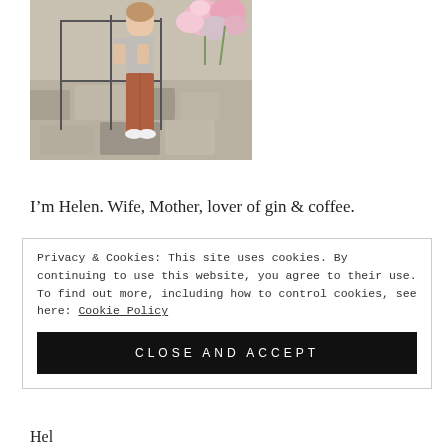[Figure (photo): A woman in a gray top and terracotta/rust colored pants with white sneakers standing outdoors on a stone patio with floral arrangements in the background]
I’m Helen. Wife, Mother, lover of gin & coffee.
Privacy & Cookies: This site uses cookies. By continuing to use this website, you agree to their use.
To find out more, including how to control cookies, see here: Cookie Policy
CLOSE AND ACCEPT
Hel